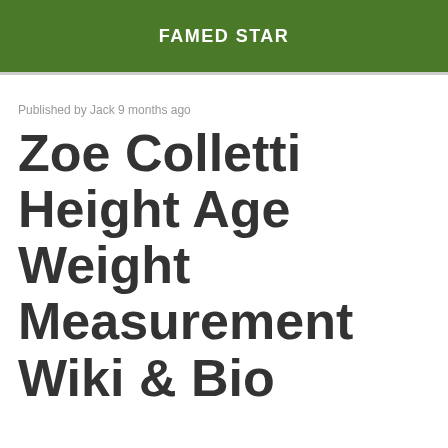FAMED STAR
Published by Jack 9 months ago
Zoe Colletti Height Age Weight Measurement Wiki & Bio